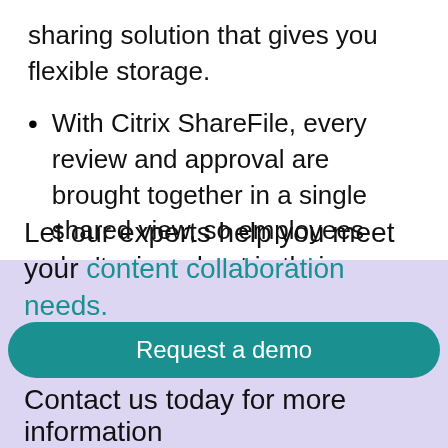sharing solution that gives you flexible storage.
With Citrix ShareFile, every review and approval are brought together in a single shared view, so employees don't miss a beat in their pace of productivity.
Keep reading ∨
Let our experts help you meet your content collaboration needs.
Request a demo
Contact us today for more information